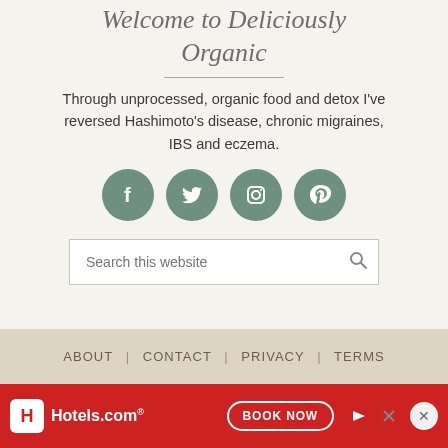Welcome to Deliciously Organic
Through unprocessed, organic food and detox I've reversed Hashimoto's disease, chronic migraines, IBS and eczema.
[Figure (other): Four circular social media icon buttons (Facebook, Twitter, Instagram, Pinterest) in muted green/teal color]
[Figure (other): Search bar with placeholder text 'Search this website' and a search icon]
ABOUT | CONTACT | PRIVACY | TERMS
[Figure (other): Hotels.com advertisement banner with red background, Hotels.com logo, and BOOK NOW button]